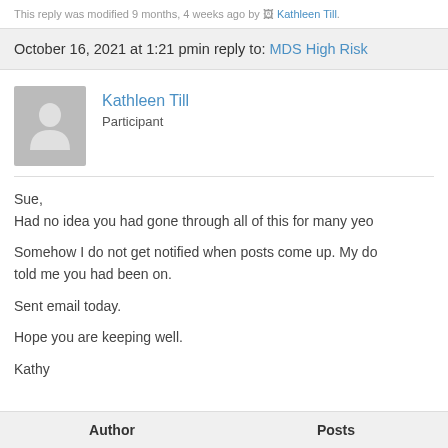This reply was modified 9 months, 4 weeks ago by Kathleen Till.
October 16, 2021 at 1:21 pm in reply to: MDS High Risk
[Figure (illustration): Generic user avatar — silhouette of a person on grey background]
Kathleen Till
Participant
Sue,
Had no idea you had gone through all of this for many yeo

Somehow I do not get notified when posts come up. My do told me you had been on.

Sent email today.

Hope you are keeping well.

Kathy
Author    Posts